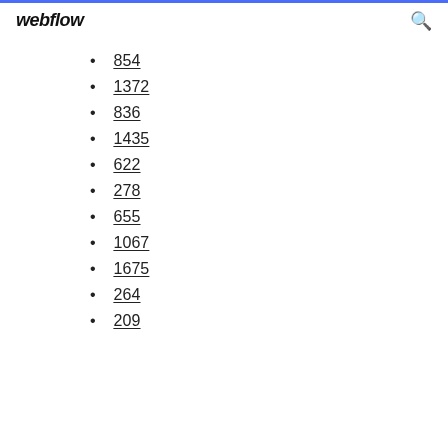webflow
854
1372
836
1435
622
278
655
1067
1675
264
209